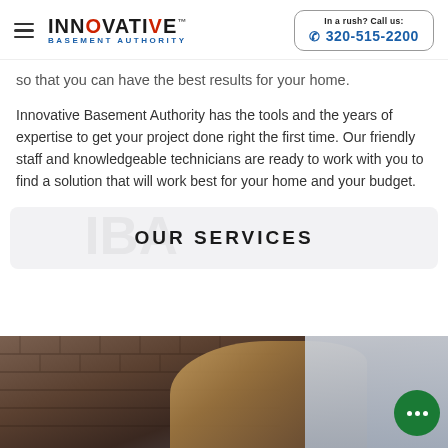Innovative Basement Authority | In a rush? Call us: 320-515-2200
so that you can have the best results for your home.
Innovative Basement Authority has the tools and the years of expertise to get your project done right the first time. Our friendly staff and knowledgeable technicians are ready to work with you to find a solution that will work best for your home and your budget.
OUR SERVICES
[Figure (photo): Photo of a person wearing work gloves, working on a brick wall with white siding visible on the right side.]